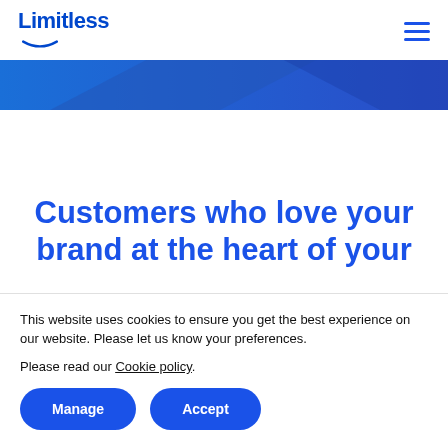Limitless
[Figure (illustration): Blue gradient banner/hero image with diagonal dark blue shape on white background]
Customers who love your brand at the heart of your
This website uses cookies to ensure you get the best experience on our website. Please let us know your preferences.
Please read our Cookie policy.
Manage  Accept